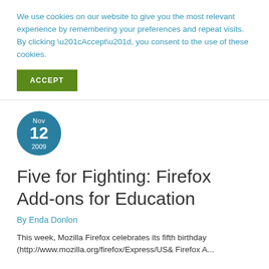We use cookies on our website to give you the most relevant experience by remembering your preferences and repeat visits. By clicking “Accept”, you consent to the use of these cookies.
ACCEPT
[Figure (other): Circular date badge showing Nov 12 2009 in teal/blue color]
Five for Fighting: Firefox Add-ons for Education
By Enda Donlon
This week, Mozilla Firefox celebrates its fifth birthday